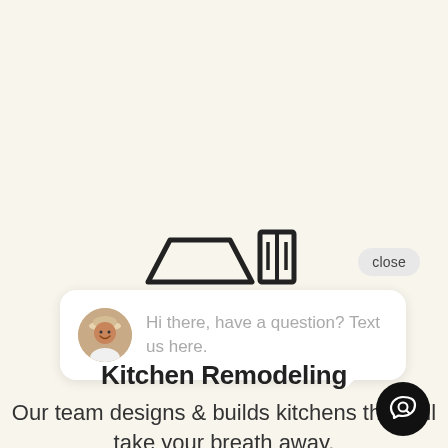[Figure (illustration): Kitchen icon showing a range hood and cabinet with two vertical lines]
close
[Figure (infographic): Chat popup bubble with female avatar and text: Hi there, have a question? Text us here.]
Kitchen Remodeling
Our team designs & builds kitchens that will take your breath away.
[Figure (illustration): Black circular chat/speech bubble icon button]